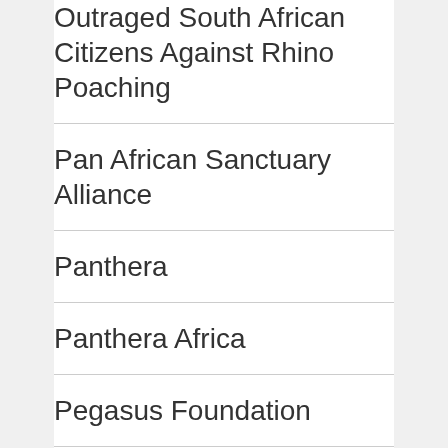Outraged South African Citizens Against Rhino Poaching
Pan African Sanctuary Alliance
Panthera
Panthera Africa
Pegasus Foundation
People for Animal Care and Kindness